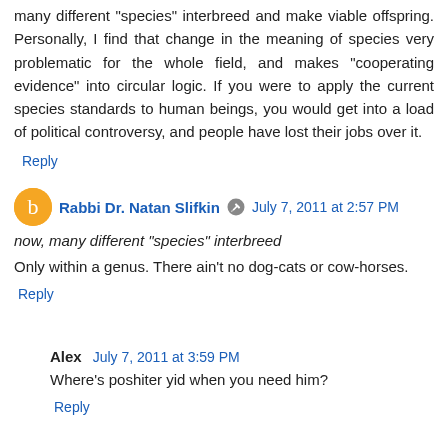many different "species" interbreed and make viable offspring. Personally, I find that change in the meaning of species very problematic for the whole field, and makes "cooperating evidence" into circular logic. If you were to apply the current species standards to human beings, you would get into a load of political controversy, and people have lost their jobs over it.
Reply
Rabbi Dr. Natan Slifkin  July 7, 2011 at 2:57 PM
now, many different "species" interbreed
Only within a genus. There ain't no dog-cats or cow-horses.
Reply
Alex  July 7, 2011 at 3:59 PM
Where's poshiter yid when you need him?
Reply